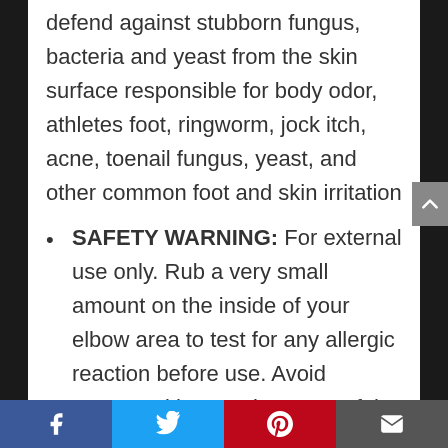defend against stubborn fungus, bacteria and yeast from the skin surface responsible for body odor, athletes foot, ringworm, jock itch, acne, toenail fungus, yeast, and other common foot and skin irritation
SAFETY WARNING: For external use only. Rub a very small amount on the inside of your elbow area to test for any allergic reaction before use. Avoid contact with eyes, keep out of the reach of children. If pregnant, consult with your health care [provider before use]